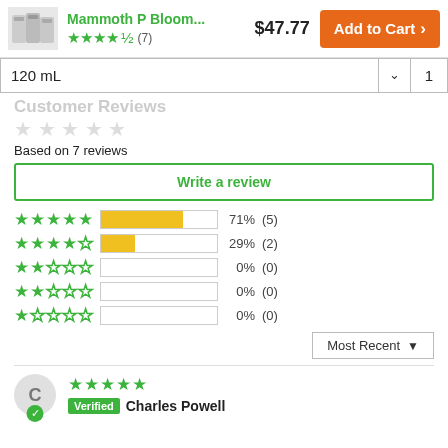Mammoth P Bloom... $47.77  ★★★★½ (7)  Add to Cart
120 mL  1
Customer Reviews
Based on 7 reviews
Write a review
[Figure (bar-chart): Rating distribution]
Most Recent
C  Verified  Charles Powell  ★★★★★